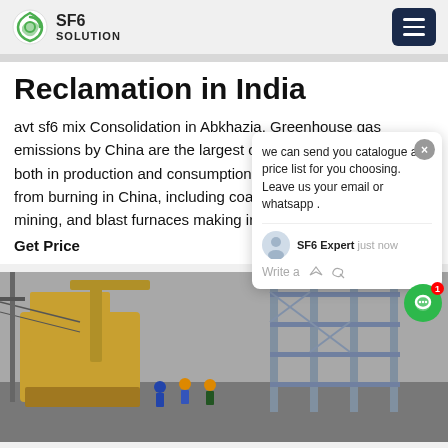SF6 SOLUTION
Reclamation in India
avt sf6 mix Consolidation in Abkhazia. Greenhouse gas emissions by China are the largest of any country in the world both in producti... consumption terms, and stem mainly from burning in China, including coal-fired... stations, coal mining, and blast furn... ing iron and steel.
Get Price
[Figure (screenshot): Chat popup overlay with message: 'we can send you catalogue and price list for you choosing. Leave us your email or whatsapp .' with SF6 Expert label and 'just now' timestamp, Write a prompt, and green chat button with red badge showing 1]
[Figure (photo): Industrial site photo showing yellow construction vehicle/crane and metal scaffolding structure with workers in hard hats]